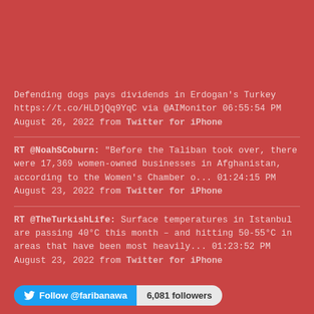Defending dogs pays dividends in Erdogan's Turkey https://t.co/HLDjQq9YqC via @AIMonitor 06:55:54 PM August 26, 2022 from Twitter for iPhone
RT @NoahSCoburn: "Before the Taliban took over, there were 17,369 women-owned businesses in Afghanistan, according to the Women's Chamber o... 01:24:15 PM August 23, 2022 from Twitter for iPhone
RT @TheTurkishLife: Surface temperatures in Istanbul are passing 40°C this month – and hitting 50-55°C in areas that have been most heavily... 01:23:52 PM August 23, 2022 from Twitter for iPhone
Follow @faribanawa  6,081 followers